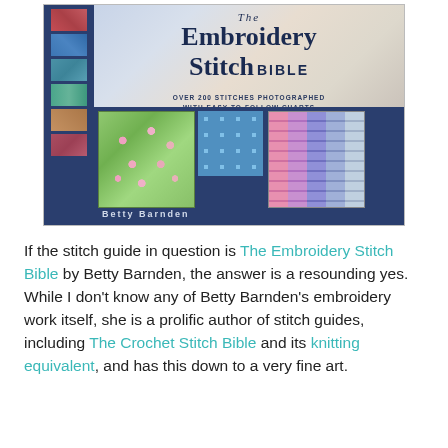[Figure (photo): Photo of the book cover of 'The Embroidery Stitch Bible' by Betty Barnden. The cover features the title in large dark serif text, subtitle 'Over 200 Stitches Photographed With Easy-to-Follow Charts', colorful embroidery sample swatches along the left spine and bottom, and the author's name.]
If the stitch guide in question is The Embroidery Stitch Bible by Betty Barnden, the answer is a resounding yes. While I don't know any of Betty Barnden's embroidery work itself, she is a prolific author of stitch guides, including The Crochet Stitch Bible and its knitting equivalent, and has this down to a very fine art.